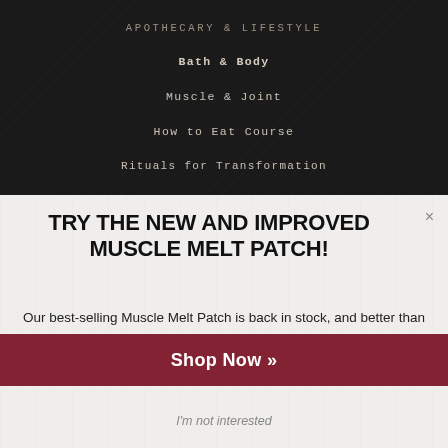APOTHECARY & LIFESTYLE
Bath & Body
Muscle & Joint
How to Eat Course
Rituals for Transformation
Live Pain Free
TRY THE NEW AND IMPROVED MUSCLE MELT PATCH!
Our best-selling Muscle Melt Patch is back in stock, and better than ever! Our new 4.3 x 6 inch patches are 80% larger than the previous patch, providing both exceptional value and comfort.
Shop Now »
I'm not interested